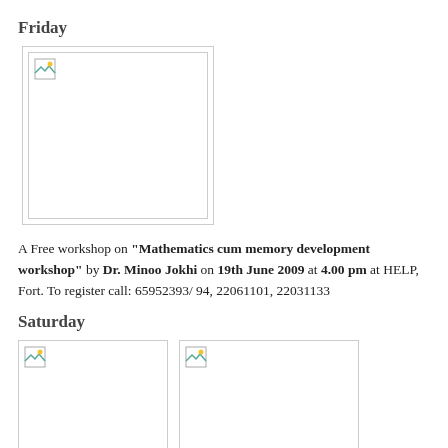Friday
[Figure (photo): Placeholder image (broken image icon) for Friday event]
A Free workshop on "Mathematics cum memory development workshop" by Dr. Minoo Jokhi on 19th June 2009 at 4.00 pm at HELP, Fort. To register call: 65952393/ 94, 22061101, 22031133
Saturday
[Figure (photo): Two placeholder images (broken image icons) for Saturday event]
A Free workshop on "Laughter therapy- The need of the hour"